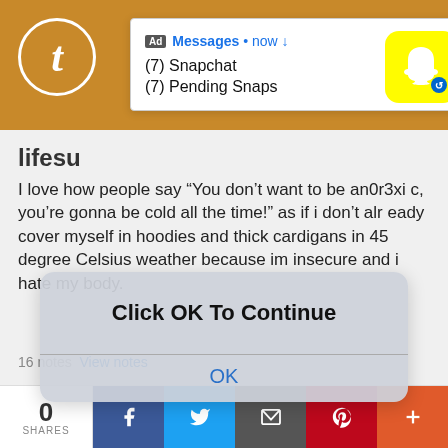[Figure (screenshot): Snapchat ad notification popup showing Messages header with Snapchat ghost logo, (7) Snapchat and (7) Pending Snaps text]
lifesu
I love how people say “You don’t want to be an0r3xic, you’re gonna be cold all the time!” as if i don’t already cover myself in hoodies and thick cardigans in 45 degree Celsius weather because im insecure and i hate my body.
[Figure (screenshot): Click OK To Continue modal dialog with OK button]
#4n0r3xia #anPr3xia #4n0r4liter #ed rant not she eran #i wanna be small #i wanna be weightless #tw ana diary #whatever #i hate life #life sukcs #life #tw ed in the tags #tw ed rant #tw ed vent
16 notes  View notes
0 SHARES